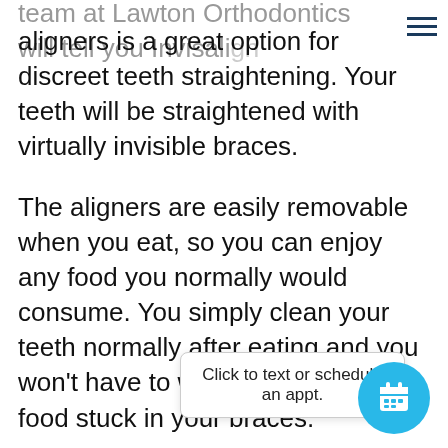team at Lawton Orthodontics will tell you Invisalign aligners is a great option for discreet teeth straightening. Your teeth will be straightened with virtually invisible braces.
The aligners are easily removable when you eat, so you can enjoy any food you normally would consume. You simply clean your teeth normally after eating and you won't have to worry about getting food stuck in your braces.
If there is a special occasion during which you do not want to have any braces in your mouth at all, you can remove the aligners whenever you want without causing any damage to your teeth.
[Figure (other): A chat bubble tooltip saying 'Click to text or schedule an appt.' with a cyan circular calendar scheduling button overlapping it.]